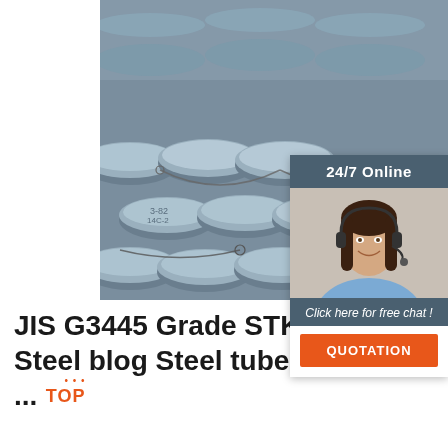[Figure (photo): Stack of steel round bars/rods bundled with wire, viewed from the end showing circular cross-sections with markings written on them]
[Figure (infographic): 24/7 Online chat widget showing a woman with headset smiling, with text 'Click here for free chat!' and an orange QUOTATION button]
JIS G3445 Grade STKM11A Steel blog Steel tube and pipe ...